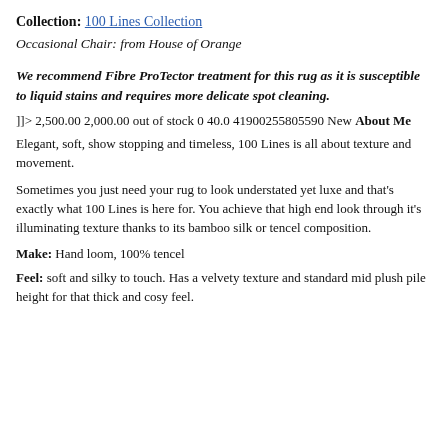Collection: 100 Lines Collection
Occasional Chair: from House of Orange
We recommend Fibre ProTector treatment for this rug as it is susceptible to liquid stains and requires more delicate spot cleaning.
]]> 2,500.00 2,000.00 out of stock 0 40.0 41900255805590 New About Me
Elegant, soft, show stopping and timeless, 100 Lines is all about texture and movement.
Sometimes you just need your rug to look understated yet luxe and that's exactly what 100 Lines is here for. You achieve that high end look through it's illuminating texture thanks to its bamboo silk or tencel composition.
Make: Hand loom, 100% tencel
Feel: soft and silky to touch. Has a velvety texture and standard mid plush pile height for that thick and cosy feel.